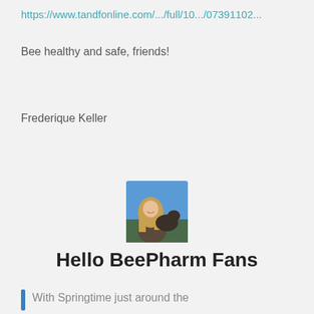https://www.tandfonline.com/.../full/10.../07391102...
Bee healthy and safe, friends!
Frederique Keller
[Figure (photo): Profile photo of a woman with long blonde hair smiling with a dark-colored dog against a blue sky background]
Hello BeePharm Fans
With Springtime just around the